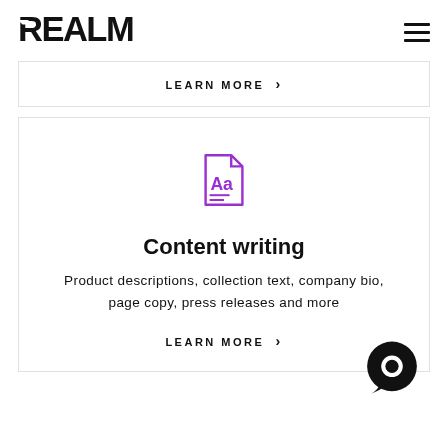REALM
LEARN MORE >
[Figure (logo): Purple document/content writing icon with 'Aa' text and lines]
Content writing
Product descriptions, collection text, company bio, page copy, press releases and more
LEARN MORE >
[Figure (illustration): Dark circular chat bubble icon in bottom right corner]